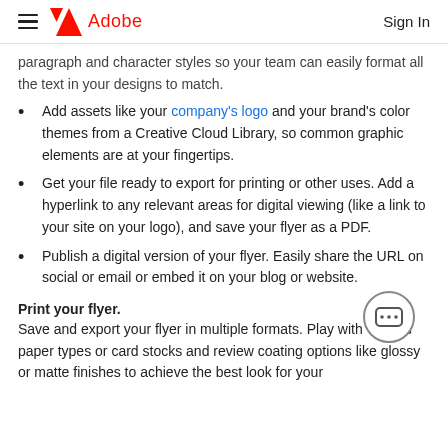Adobe | Sign In
paragraph and character styles so your team can easily format all the text in your designs to match.
Add assets like your company's logo and your brand's color themes from a Creative Cloud Library, so common graphic elements are at your fingertips.
Get your file ready to export for printing or other uses. Add a hyperlink to any relevant areas for digital viewing (like a link to your site on your logo), and save your flyer as a PDF.
Publish a digital version of your flyer. Easily share the URL on social or email or embed it on your blog or website.
Print your flyer.
Save and export your flyer in multiple formats. Play with various paper types or card stocks and review coating options like glossy or matte finishes to achieve the best look for your